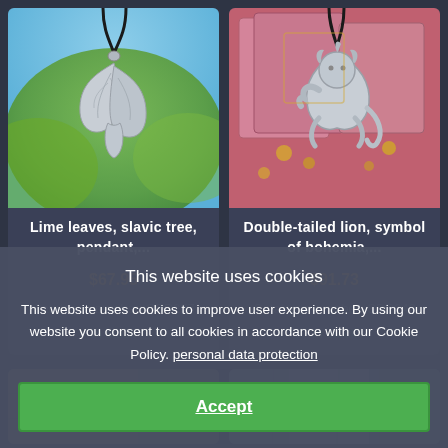[Figure (photo): Silver lime leaf pendant jewelry hanging against green blurred background]
Lime leaves, slavic tree, pendant,...
$67.95
Catalogue number: SBR257
In stock
[Figure (photo): Silver double-tailed lion pendant against pink and gold decorative background]
Double-tailed lion, symbol of bohemia,...
$91.73
Catalogue number: SBR242
In stock
[Figure (photo): Partially visible jewelry product image at bottom left]
[Figure (photo): Partially visible jewelry product image at bottom right]
This website uses cookies
This website uses cookies to improve user experience. By using our website you consent to all cookies in accordance with our Cookie Policy. personal data protection
Accept